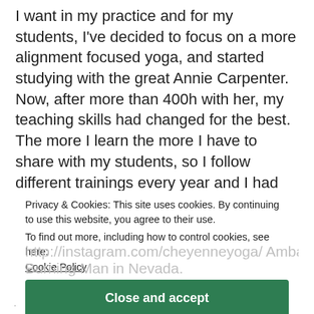I want in my practice and for my students, I've decided to focus on a more alignment focused yoga, and started studying with the great Annie Carpenter. Now, after more than 400h with her, my teaching skills had changed for the best. The more I learn the more I have to share with my students, so I follow different trainings every year and I had the great honor to learn from amazing teachers like Krista Cahill, Maty Ezraty or Dona Holleman. I'm now teaching SmartFLOW YOGA, Hatha yoga, restorative yoga and chair yoga (for people fitness, range of motion). I'm combining the time, but also in some magical events such as Burning Man in Nevada. http://instagram.com/cheyenneyoga/ Ambassador of a ch...
Privacy & Cookies: This site uses cookies. By continuing to use this website, you agree to their use.
To find out more, including how to control cookies, see here:
Cookie Policy
Close and accept
for 10% on their website. Yoga inspired jewelry